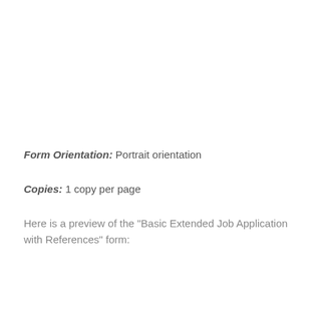Form Orientation: Portrait orientation
Copies: 1 copy per page
Here is a preview of the "Basic Extended Job Application with References" form: